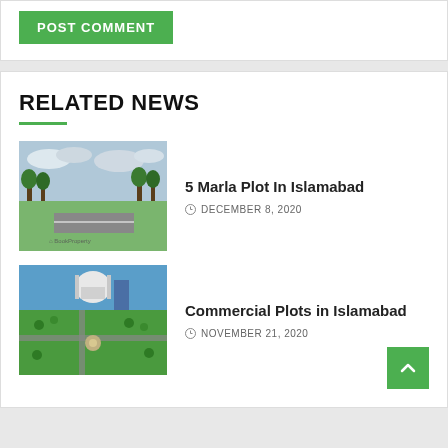POST COMMENT
RELATED NEWS
[Figure (photo): Aerial or street-level view of a green park area with a road and trees in Islamabad, with a BookProperty watermark]
5 Marla Plot In Islamabad
DECEMBER 8, 2020
[Figure (photo): Aerial view of Islamabad showing Faisal Mosque, monuments, and green parks]
Commercial Plots in Islamabad
NOVEMBER 21, 2020